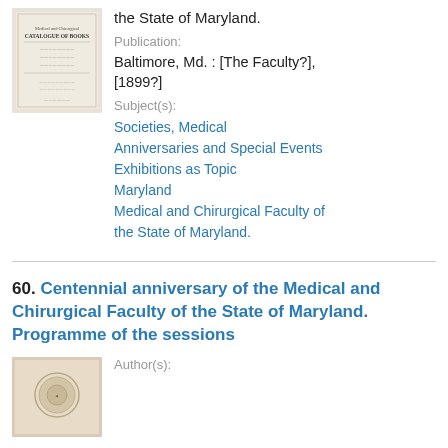[Figure (illustration): Thumbnail image of a book cover, pale/cream colored with small text, framed with a simple border.]
the State of Maryland.
Publication:
Baltimore, Md. : [The Faculty?], [1899?]
Subject(s):
Societies, Medical
Anniversaries and Special Events
Exhibitions as Topic
Maryland
Medical and Chirurgical Faculty of the State of Maryland.
60. Centennial anniversary of the Medical and Chirurgical Faculty of the State of Maryland. Programme of the sessions
[Figure (illustration): Thumbnail image of a book cover with a circular emblem/seal in the center, tan/beige colored.]
Author(s):